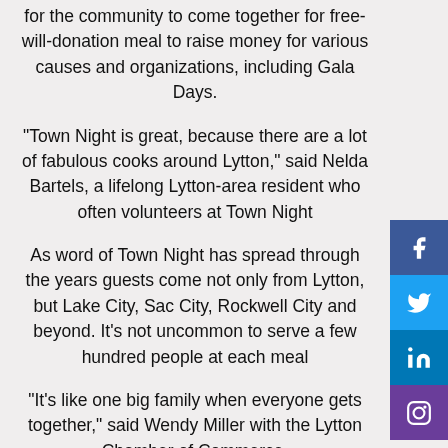for the community to come together for free-will-donation meal to raise money for various causes and organizations, including Gala Days.
“Town Night is great, because there are a lot of fabulous cooks around Lytton,” said Nelda Bartels, a lifelong Lytton-area resident who often volunteers at Town Night
As word of Town Night has spread through the years guests come not only from Lytton, but Lake City, Sac City, Rockwell City and beyond. It’s not uncommon to serve a few hundred people at each meal
“It’s like one big family when everyone gets together,” said Wendy Miller with the Lytton Chamber of Commerce.
Lytton Town Night includes groups like the Gala Days volunteers, the South Central Calhoun FFA chapter, 4-H clubs, civic groups and individuals raising money for worthy causes, including overseas mission trips. The Lytton